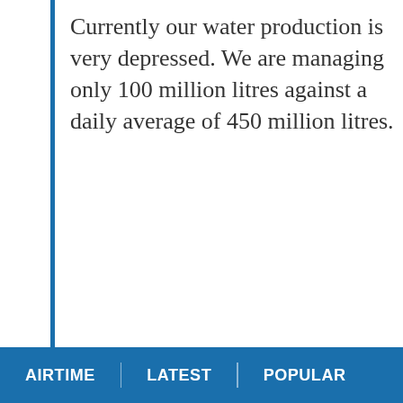Currently our water production is very depressed. We are managing only 100 million litres against a daily average of 450 million litres.
AIRTIME | LATEST | POPULAR